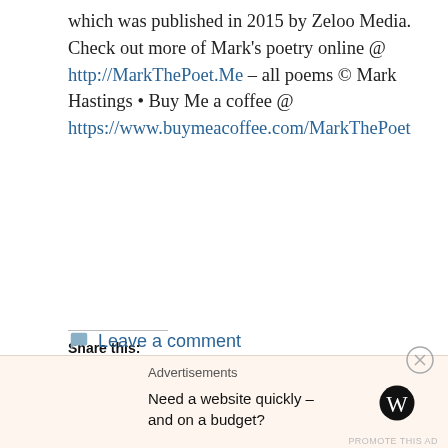which was published in 2015 by Zeloo Media. Check out more of Mark's poetry online @ http://MarkThePoet.Me – all poems © Mark Hastings • Buy Me a coffee @ https://www.buymeacoffee.com/MarkThePoet
Share this:
[Figure (screenshot): Share buttons: Twitter, Facebook, More]
Loading...
Leave a comment
Advertisements
Need a website quickly – and on a budget?